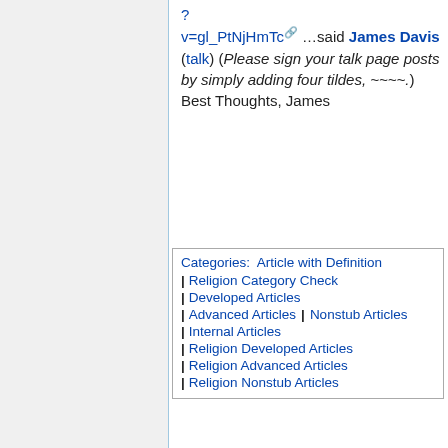? v=gl_PtNjHmTc ...said James Davis (talk) (Please sign your talk page posts by simply adding four tildes, ~~~~.) Best Thoughts, James
Categories: Article with Definition | Religion Category Check | Developed Articles | Advanced Articles | Nonstub Articles | Internal Articles | Religion Developed Articles | Religion Advanced Articles | Religion Nonstub Articles